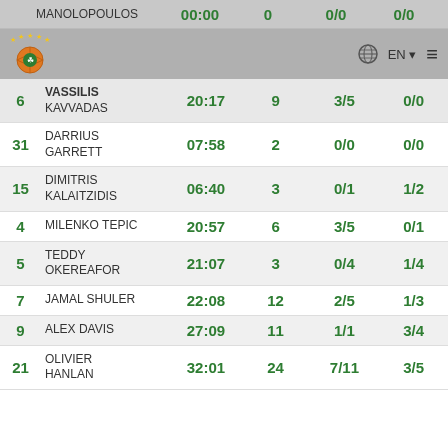| # | Name | Time | Pts | FG | 3P |
| --- | --- | --- | --- | --- | --- |
|  | MANOLOPOULOS | 00:00 | 0 | 0/0 | 0/0 |
| 6 | VASSILIS KAVVADAS | 20:17 | 9 | 3/5 | 0/0 |
| 31 | DARRIUS GARRETT | 07:58 | 2 | 0/0 | 0/0 |
| 15 | DIMITRIS KALAITZIDIS | 06:40 | 3 | 0/1 | 1/2 |
| 4 | MILENKO TEPIC | 20:57 | 6 | 3/5 | 0/1 |
| 5 | TEDDY OKEREAFOR | 21:07 | 3 | 0/4 | 1/4 |
| 7 | JAMAL SHULER | 22:08 | 12 | 2/5 | 1/3 |
| 9 | ALEX DAVIS | 27:09 | 11 | 1/1 | 3/4 |
| 21 | OLIVIER HANLAN | 32:01 | 24 | 7/11 | 3/5 |